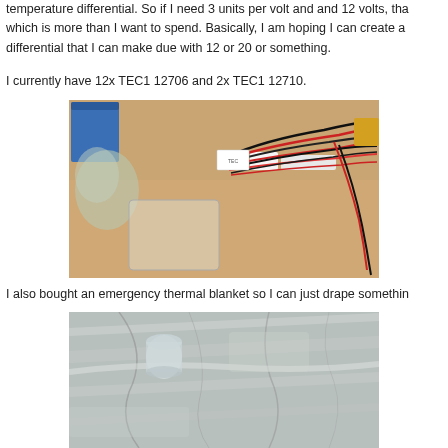temperature differential. So if I need 3 units per volt and and 12 volts, that which is more than I want to spend. Basically, I am hoping I can create a differential that I can make due with 12 or 20 or something.
I currently have 12x TEC1 12706 and 2x TEC1 12710.
[Figure (photo): Photo of TEC (thermoelectric cooler) modules with red and black wires on a wooden desk, along with a clear plastic bag and packaging materials.]
I also bought an emergency thermal blanket so I can just drape somethin
[Figure (photo): Photo of a silver emergency thermal blanket laid out, with a small glass or container visible.]